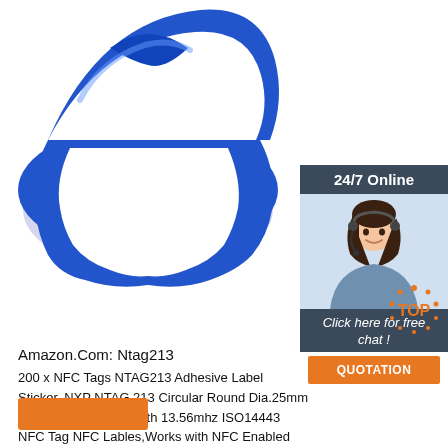[Figure (photo): Blue silicone NFC wristband / wrist band shown on white background, circular band shape with flat section at top]
[Figure (illustration): 24/7 Online chat widget: dark blue/grey background, text '24/7 Online', image of smiling woman with headset, text 'Click here for free chat!', orange button 'QUOTATION']
Amazon.Com: Ntag213
200 x NFC Tags NTAG213 Adhesive Label Sticker, NXP NTAG 213 Circular Round Dia.25mm Blank NFC Stickers with 13.56mhz ISO14443 NFC Tag NFC Lables,Works with NFC Enabled Android Phones. 3.0 out of 5 stars 1
[Figure (logo): TOP badge in orange with dots around it]
[Figure (other): Orange rectangular button at bottom left]